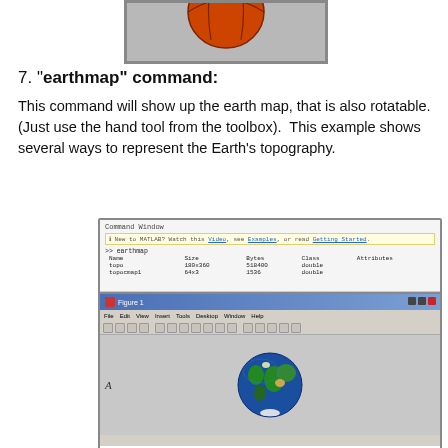[Figure (screenshot): Partial view of a 3D rendered object (basketball) in a MATLAB figure window, cropped at top]
7. "earthmap" command:
This command will show up the earth map, that is also rotatable. (Just use the hand tool from the toolbox).  This example shows several ways to represent the Earth's topography.
[Figure (screenshot): MATLAB Command Window showing output of earthmap command with variables topo (180x360, 518400 bytes, double) and topocmap1 (64x3, 1536 bytes, double), and a Figure 1 window showing a 3D rendered Earth globe with blue oceans and green/brown landmasses]